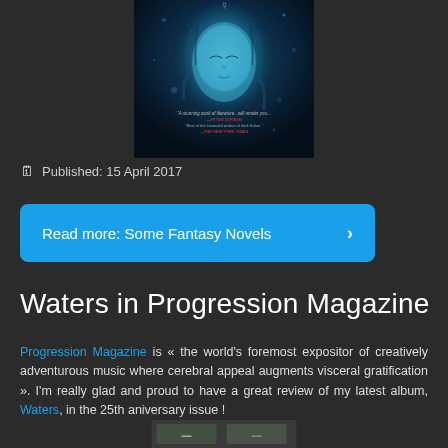[Figure (photo): Book cover with a blue-toned fantasy illustration of a woman's face with ethereal glow, with quotes from Peter Straub and The New York Times]
Published: 15 April 2017
Read more: Some Fantasy Novels >
Waters in Progression Magazine
Progression Magazine is « the world's foremost expositor of creatively adventurous music where cerebral appeal augments visceral gratification ». I'm really glad and proud to have a great review of my latest album, Waters, in the 25th aniversary issue !
[Figure (photo): Partial image at bottom of page, partially cropped]